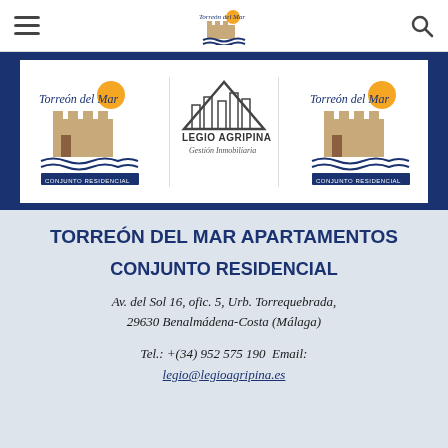[Figure (logo): Navigation bar with hamburger menu, Torreón del Mar logo, and search icon]
[Figure (logo): Banner with three logos: Torreón del Mar (left), Legio Agripina SL Gestión Inmobiliaria (center), Torreón del Mar (right)]
TORREÓN DEL MAR APARTAMENTOS
CONJUNTO RESIDENCIAL
Av. del Sol 16, ofic. 5, Urb. Torrequebrada,
29630 Benalmádena-Costa (Málaga)
Tel.: +(34) 952 575 190  Email: legio@legioagripina.es